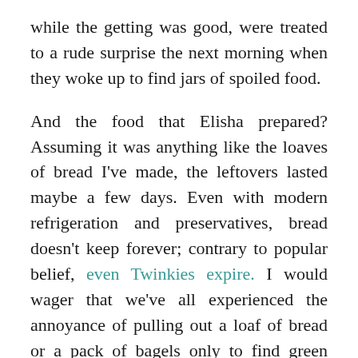while the getting was good, were treated to a rude surprise the next morning when they woke up to find jars of spoiled food.
And the food that Elisha prepared? Assuming it was anything like the loaves of bread I've made, the leftovers lasted maybe a few days. Even with modern refrigeration and preservatives, bread doesn't keep forever; contrary to popular belief, even Twinkies expire. I would wager that we've all experienced the annoyance of pulling out a loaf of bread or a pack of bagels only to find green fuzz growing over the entire thing.
Jesus is promising something even greater